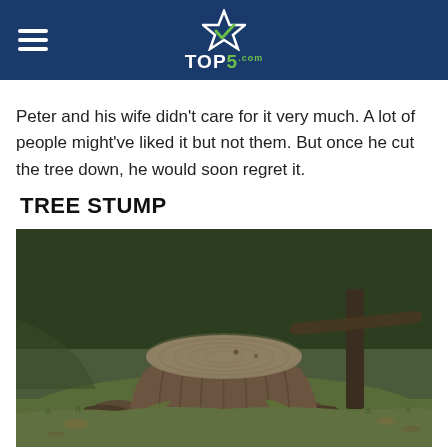TOP5.com
Peter and his wife didn't care for it very much. A lot of people might've liked it but not them. But once he cut the tree down, he would soon regret it.
TREE STUMP
[Figure (photo): A large moss-covered tree stump with gnarled roots in a forest clearing with green grass and trees in the background.]